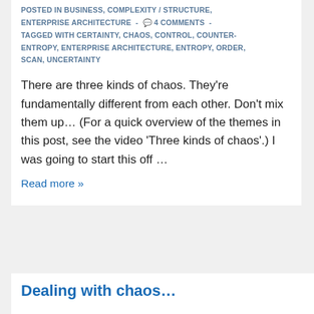POSTED IN BUSINESS, COMPLEXITY / STRUCTURE, ENTERPRISE ARCHITECTURE - 4 COMMENTS - TAGGED WITH CERTAINTY, CHAOS, CONTROL, COUNTER-ENTROPY, ENTERPRISE ARCHITECTURE, ENTROPY, ORDER, SCAN, UNCERTAINTY
There are three kinds of chaos. They're fundamentally different from each other. Don't mix them up… (For a quick overview of the themes in this post, see the video 'Three kinds of chaos'.) I was going to start this off …
Read more »
Dealing with chaos...